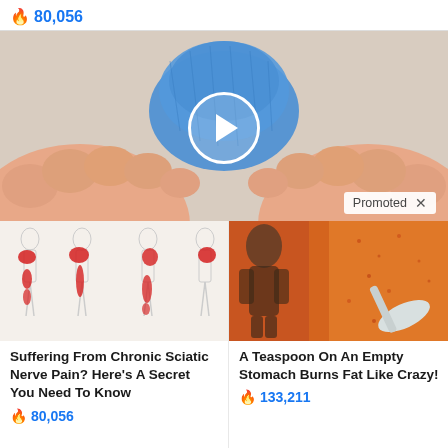🔥 80,056
[Figure (photo): Video thumbnail showing feet with blue therapeutic tape/bandage wrap between toes, with a white circular play button overlay and a 'Promoted X' badge in the bottom right corner.]
[Figure (illustration): Medical illustration showing four human body silhouettes with red highlighted areas indicating sciatic nerve pain pathways down the leg.]
Suffering From Chronic Sciatic Nerve Pain? Here's A Secret You Need To Know
🔥 80,056
[Figure (photo): Photo showing a fit person's torso and a spoon with orange/red spice powder, representing a weight loss remedy article.]
A Teaspoon On An Empty Stomach Burns Fat Like Crazy!
🔥 133,211